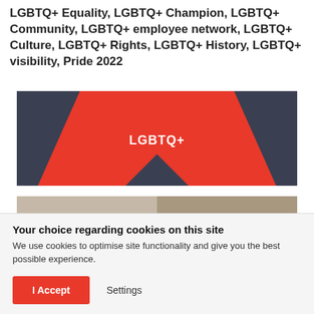LGBTQ+ Equality, LGBTQ+ Champion, LGBTQ+ Community, LGBTQ+ employee network, LGBTQ+ Culture, LGBTQ+ Rights, LGBTQ+ History, LGBTQ+ visibility, Pride 2022
[Figure (illustration): Red and dark navy branded banner with diagonal design elements and white bold text 'LGBTQ+' centered]
[Figure (photo): Photo of a person holding a smartphone, with overlaid white text 'Why companies need to act this' and a vertical cyan bar on the left]
Your choice regarding cookies on this site
We use cookies to optimise site functionality and give you the best possible experience.